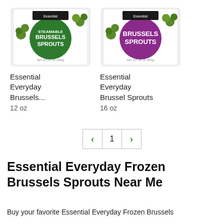[Figure (photo): Essential Everyday Steamable Brussels Sprouts 12oz frozen bag product image]
[Figure (photo): Essential Everyday Brussels Sprouts 16oz frozen bag product image with purple circle logo]
Essential Everyday Brussels...
12 oz
Essential Everyday Brussel Sprouts
16 oz
< 1 >
Essential Everyday Frozen Brussels Sprouts Near Me
Buy your favorite Essential Everyday Frozen Brussels